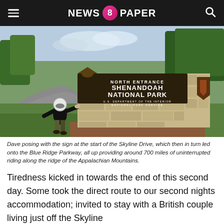NEWS 8 PAPER
[Figure (photo): Dave posing in motorcycle gear and helmet in front of the Shenandoah National Park North Entrance sign, with a road curving to the left and green trees in the background.]
Dave posing with the sign at the start of the Skyline Drive, which then in turn led onto the Blue Ridge Parkway, all up providing around 700 miles of uninterrupted riding along the ridge of the Appalachian Mountains.
Tiredness kicked in towards the end of this second day. Some took the direct route to our second nights accommodation; invited to stay with a British couple living just off the Skyline...